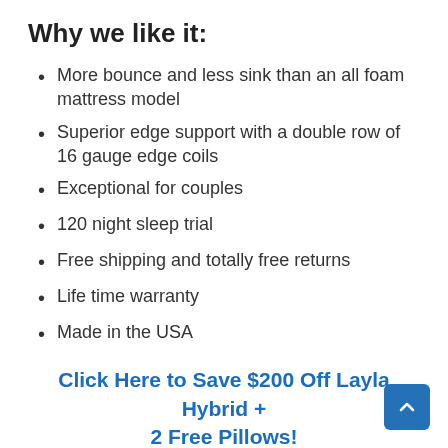Why we like it:
More bounce and less sink than an all foam mattress model
Superior edge support with a double row of 16 gauge edge coils
Exceptional for couples
120 night sleep trial
Free shipping and totally free returns
Life time warranty
Made in the USA
Click Here to Save $200 Off Layla Hybrid + 2 Free Pillows!